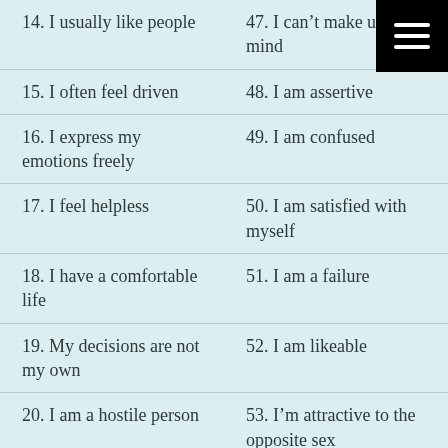14. I usually like people
47. I can't make up my mind
15. I often feel driven
48. I am assertive
16. I express my emotions freely
49. I am confused
17. I feel helpless
50. I am satisfied with myself
18. I have a comfortable life
51. I am a failure
19. My decisions are not my own
52. I am likeable
20. I am a hostile person
53. I'm attractive to the opposite sex